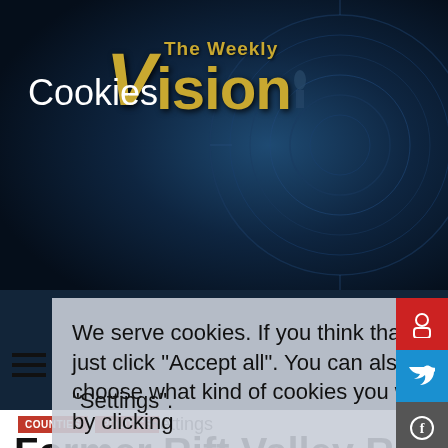[Figure (screenshot): The Weekly Vision newspaper website screenshot showing cookie consent overlay, article title 'Former Rift Valley RC George Natembeya Donates Transformer to Residents Of Kananachi', categories COUNTIES and POLITICS, date March 28 2022, with Settings and Accept all cookie buttons visible.]
Cookies
We serve cookies. If you think that’s ok, just click "Accept all". You can also choose what kind of cookies you want by clicking “Settings”.
COUNTIES  POLITICS
Former Rift Valley RC George Natembeya Donates Transformer to Residents Of Kananachi
March 28, 2022